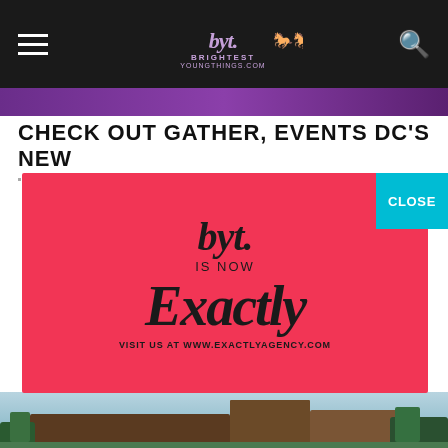BYT Brightest Young Things
CHECK OUT GATHER, EVENTS DC'S NEW
[Figure (advertisement): Red advertisement with BYT script logo, text 'IS NOW Exactly', and 'VISIT US AT WWW.EXACTLYAGENCY.COM']
[Figure (photo): Outdoor photo showing a building with trees in the background]